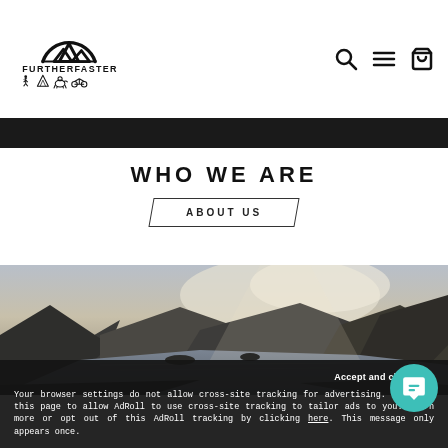[Figure (logo): FurtherFaster brand logo with mountain/arc icon above text FURTHERFASTER and activity icons (hiking, mountain, dog, biking) below]
[Figure (screenshot): Dark image strip at top of page, appears to be bottom edge of a hero photograph]
WHO WE ARE
ABOUT US
[Figure (photo): Landscape panoramic photograph of a Scottish loch or fjord scene with mountains, water reflections, and dramatic cloudy sky]
Accept and close ×
Your browser settings do not allow cross-site tracking for advertising. Click on this page to allow AdRoll to use cross-site tracking to tailor ads to you. Learn more or opt out of this AdRoll tracking by clicking here. This message only appears once.